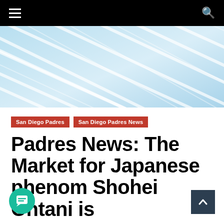Navigation bar with hamburger menu and search icon
[Figure (illustration): Abstract blue diagonal light streaks/rays background image used as hero banner]
San Diego Padres   San Diego Padres News
Padres News: The Market for Japanese phenom Shohei Ohtani is